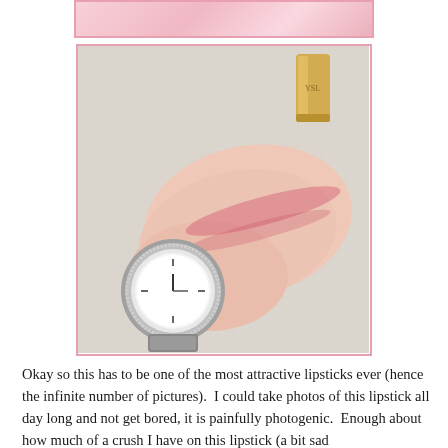[Figure (photo): Partial view of a pink/floral image cropped at top of page, with pink border]
[Figure (photo): A hand with a pink lipstick swatch on the back, wearing a silver rhinestone watch, with a gold lipstick cap visible in upper right corner, on a white towel background, framed with a pink border]
Okay so this has to be one of the most attractive lipsticks ever (hence the infinite number of pictures).  I could take photos of this lipstick all day long and not get bored, it is painfully photogenic.  Enough about how much of a crush I have on this lipstick (a bit sad